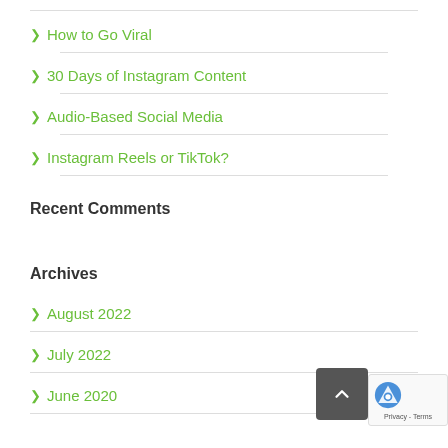How to Go Viral
30 Days of Instagram Content
Audio-Based Social Media
Instagram Reels or TikTok?
Recent Comments
Archives
August 2022
July 2022
June 2020